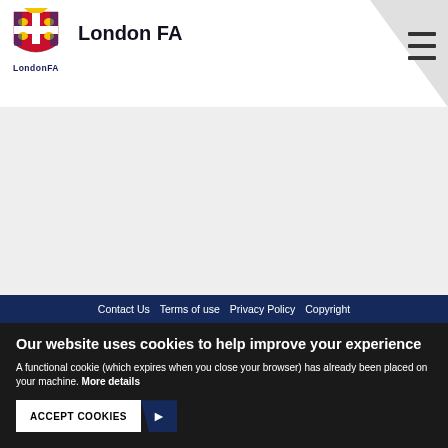[Figure (logo): London FA crest logo with heraldic shield]
London FA
[Figure (illustration): Hamburger menu icon (three horizontal lines)]
Contact Us  Terms of use  Privacy Policy  Copyright
Our website uses cookies to help improve your experience
A functional cookie (which expires when you close your browser) has already been placed on your machine. More details
ACCEPT COOKIES